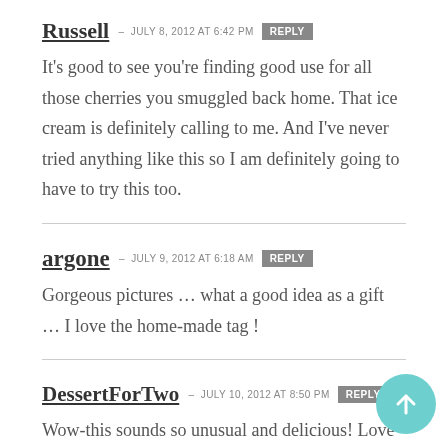Russell — JULY 8, 2012 at 6:42 PM  REPLY
It's good to see you're finding good use for all those cherries you smuggled back home. That ice cream is definitely calling to me. And I've never tried anything like this so I am definitely going to have to try this too.
argone — JULY 9, 2012 at 6:18 AM  REPLY
Gorgeous pictures … what a good idea as a gift … I love the home-made tag !
DessertForTwo — JULY 10, 2012 at 8:50 PM  REPLY
Wow-this sounds so unusual and delicious! Love the